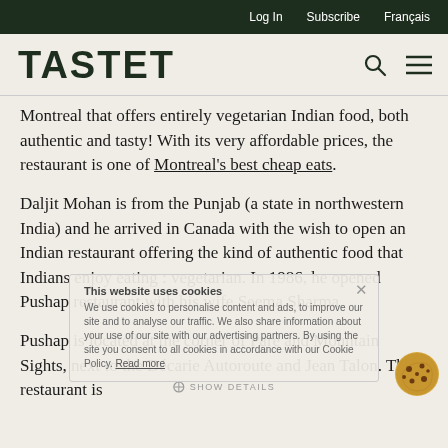Log In   Subscribe   Français
TASTET
Montreal that offers entirely vegetarian Indian food, both authentic and tasty! With its very affordable prices, the restaurant is one of Montreal's best cheap eats.
Daljit Mohan is from the Punjab (a state in northwestern India) and he arrived in Canada with the wish to open an Indian restaurant offering the kind of authentic food that Indians enjoy eating : vegetarian. In 1986, he opened Pushap restaurant with his wife Seema Sharma.
Pushap is located at the corner of Paré and Mountain Sights, next to the Décarie Autoroute and Jean Talon. The restaurant is